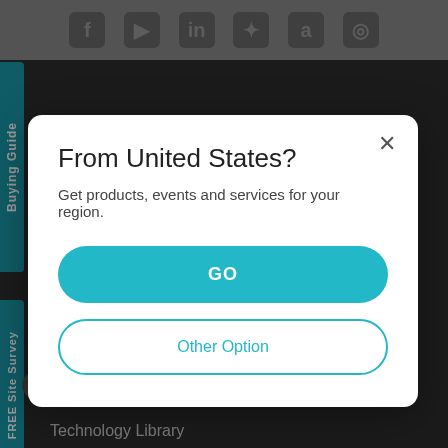[Figure (screenshot): Website background with dark overlay showing social media icon bar at top, teal vertical tabs labeled 'Buying Guide' and 'FREE Site Survey' on left side, dark navigation area with partial menu items visible]
From United States?
Get products, events and services for your region.
GO
Other Option
rtner Programme
etwork Site Survey
Technology Library